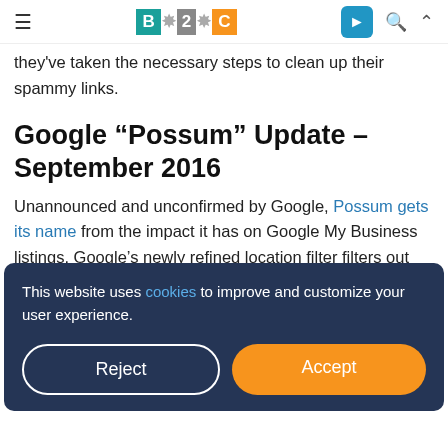B2C [logo] navigation header with hamburger menu, telegram icon, search, and caret
they've taken the necessary steps to clean up their spammy links.
Google “Possum” Update – September 2016
Unannounced and unconfirmed by Google, Possum gets its name from the impact it has on Google My Business listings. Google’s newly refined location filter filters out businesses
This website uses cookies to improve and customize your user experience.
rankings for local search keywords. Prior to Possum